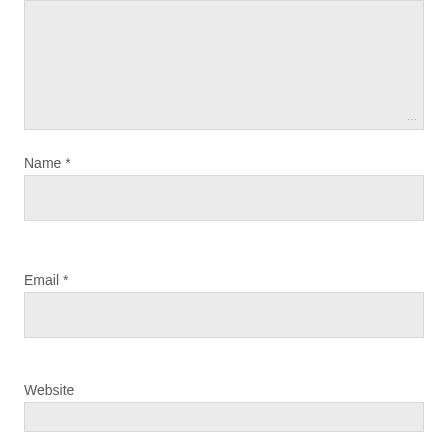[Figure (screenshot): A large textarea input box with a light gray background and resize handle in the bottom-right corner, partially shown at the top of the page.]
Name *
[Figure (screenshot): A text input field with light gray background for the Name field.]
Email *
[Figure (screenshot): A text input field with light gray background for the Email field.]
Website
[Figure (screenshot): A text input field with light gray background for the Website field, partially visible.]